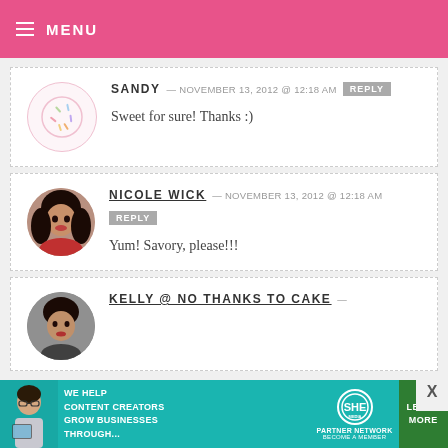MENU
SANDY — NOVEMBER 13, 2012 @ 12:18 AM
Sweet for sure! Thanks :)
NICOLE WICK — NOVEMBER 13, 2012 @ 12:18 AM
Yum! Savory, please!!!
KELLY @ NO THANKS TO CAKE —
[Figure (infographic): SHE Partner Network advertisement banner: We help content creators grow businesses through... Learn More]